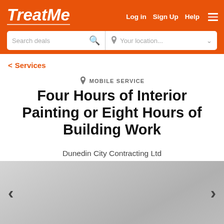TreatMe — Log in | Sign Up | Help
Search deals | Your location...
< Services
MOBILE SERVICE
Four Hours of Interior Painting or Eight Hours of Building Work
Dunedin City Contracting Ltd
[Figure (photo): Gray image slider placeholder with left and right navigation arrows]